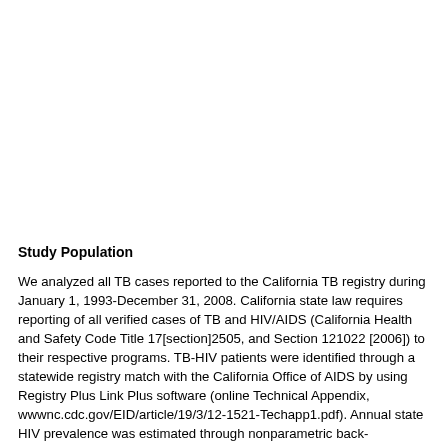Study Population
We analyzed all TB cases reported to the California TB registry during January 1, 1993-December 31, 2008. California state law requires reporting of all verified cases of TB and HIV/AIDS (California Health and Safety Code Title 17[section]2505, and Section 121022 [2006]) to their respective programs. TB-HIV patients were identified through a statewide registry match with the California Office of AIDS by using Registry Plus Link Plus software (online Technical Appendix, wwwnc.cdc.gov/EID/article/19/3/12-1521-Techapp1.pdf). Annual state HIV prevalence was estimated through nonparametric back-calculation based on racial/ ethnic group-specific counts of reported AIDS cases and reported AIDS-related deaths during 1981-2008 (online Technical Appendix Table 1) (8). Demographic, behavioral, and clinical information, including deaths, was abstracted from state surveillance forms (Report of a Verified Case of Tuberculosis and Adult HIV/AIDS Confidential Case